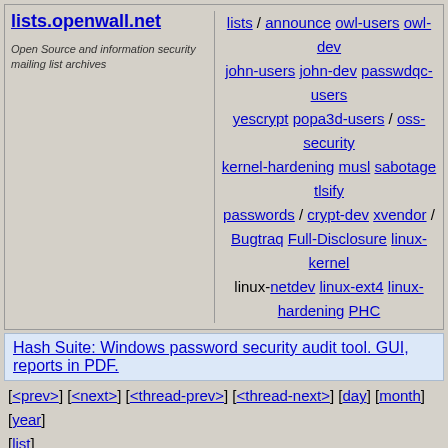lists.openwall.net | lists / announce / owl-users / owl-dev / john-users / john-dev / passwdqc-users / yescrypt / popa3d-users / oss-security / kernel-hardening / musl / sabotage / tlsify / passwords / crypt-dev / xvendor / Bugtraq / Full-Disclosure / linux-kernel / linux-netdev / linux-ext4 / linux-hardening / PHC | Open Source and information security mailing list archives
Hash Suite: Windows password security audit tool. GUI, reports in PDF.
[<prev>] [<next>] [<thread-prev>] [<thread-next>] [day] [month] [year] [list]
Date:    Tue, 15 Apr 2014 00:48:18 +0200
From:    Frederic Weisbecker
<fweisbec@...il.com>
To:      Peter Zijlstra
<peterz@...radead.org>
Cc:      Viresh Kumar
<viresh.kumar@...aro.org>,
         linaro-kernel@...ts.linaro.org,
         linux-kernel@...r.kernel.org,
         mingo@...hat.com
Subject: Re: [PATCH] sched/core: fix